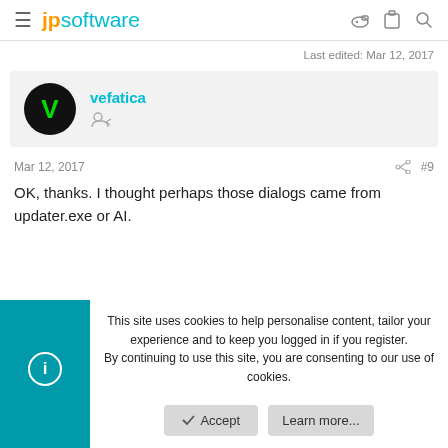jpsoftware
Last edited: Mar 12, 2017
vefatica
Mar 12, 2017  #9
OK, thanks. I thought perhaps those dialogs came from updater.exe or AI.
This site uses cookies to help personalise content, tailor your experience and to keep you logged in if you register. By continuing to use this site, you are consenting to our use of cookies.